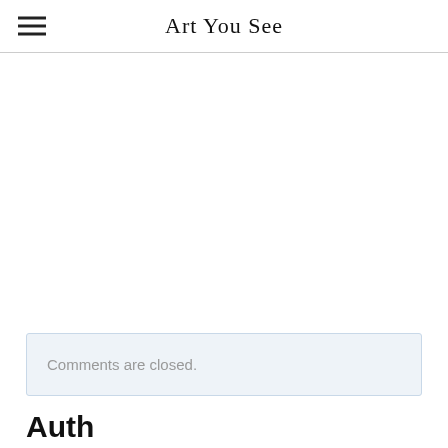Art You See
Comments are closed.
Auth...